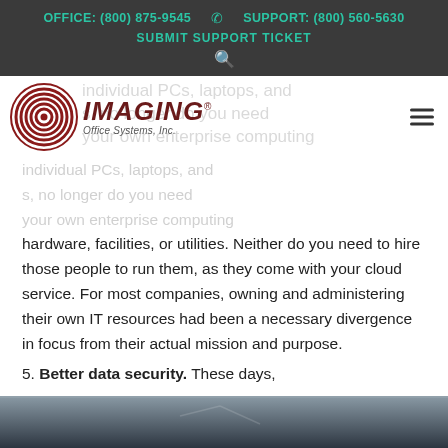OFFICE: (800) 875-9545   SUPPORT: (800) 560-5630   SUBMIT SUPPORT TICKET
[Figure (logo): Imaging Office Systems, Inc. logo with concentric circle graphic in dark red and IMAGING italic bold text]
individual PCs, laptops, and s, no longer do you need your own enterprise computing hardware, facilities, or utilities. Neither do you need to hire those people to run them, as they come with your cloud service. For most companies, owning and administering their own IT resources had been a necessary divergence in focus from their actual mission and purpose.
5. Better data security. These days,
[Figure (photo): Dark photo strip at bottom of page, appears to show security-related imagery]